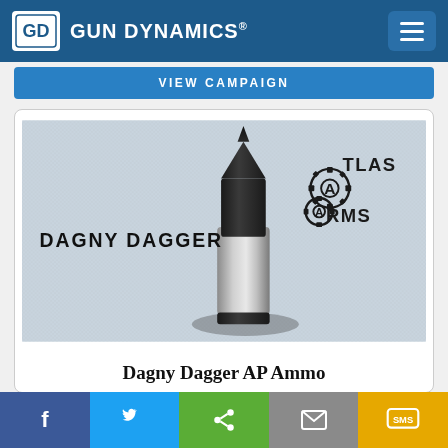GUN DYNAMICS®
VIEW CAMPAIGN
[Figure (photo): Photo of Dagny Dagger AP Ammo bullet product — a cylindrical bullet with black polymer tip and metal body, displayed upright against a light gray fabric background. Left side reads 'DAGNY DAGGER' in bold black text; right side shows Atlas Arms gear logo with text 'ATLAS ARMS'.]
Dagny Dagger AP Ammo
Facebook | Twitter | Share | Email | SMS